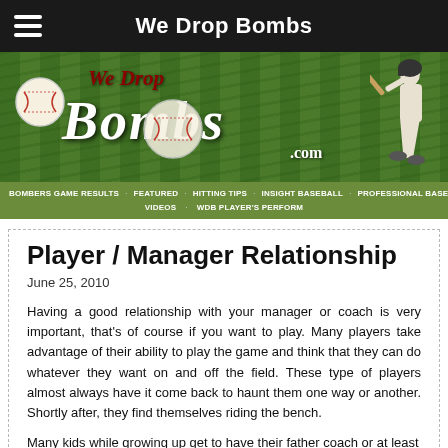We Drop Bombs
[Figure (illustration): We Drop Bombs baseball website banner with grass background, baseball imagery, player silhouette, and stylized 'We Drop Bombs.com' text logo]
BOMBERS GAME RESULTS  FEATURED  HITTING TIPS  INSIGHT BASEBALL  PROFESSIONAL BASEBALL  VIDEOS  WDB PLAYER'S PERFORM
Player / Manager Relationship
June 25, 2010
Having a good relationship with your manager or coach is very important, that's of course if you want to play. Many players take advantage of their ability to play the game and think that they can do whatever they want on and off the field. These type of players almost always have it come back to haunt them one way or another. Shortly after, they find themselves riding the bench.
Many kids while growing up get to have their father coach or at least